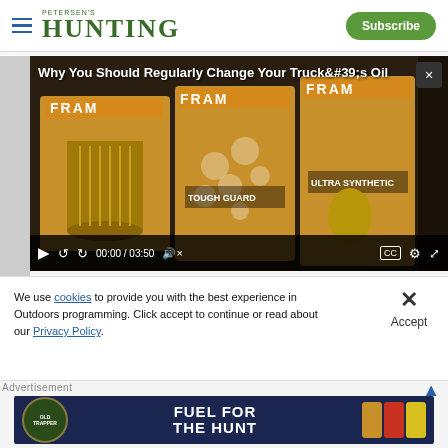Petersen's Hunting — Subscribe
[Figure (screenshot): Embedded video player showing FRAM oil filter products with title 'Why You Should Regularly Change Your Truck&#39;s Oil' and controls showing 00:00 / 03:50]
We use cookies to provide you with the best experience in Outdoors programming. Click accept to continue or read about our Privacy Policy.
Advertisement
[Figure (photo): Old Trapper advertisement banner: 'FUEL FOR THE HUNT' with product images on dark blue background]